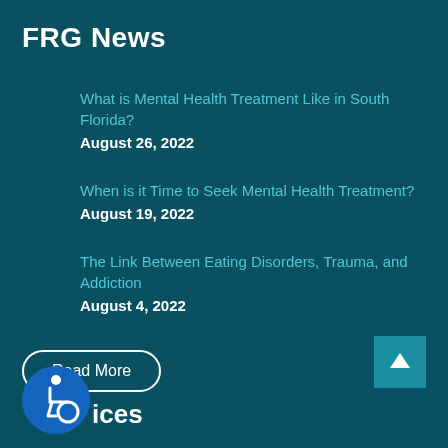FRG News
What is Mental Health Treatment Like in South Florida?
August 26, 2022
When is it Time to Seek Mental Health Treatment?
August 19, 2022
The Link Between Eating Disorders, Trauma, and Addiction
August 4, 2022
Read More
[Figure (illustration): Accessibility icon - blue circle with wheelchair user symbol in white]
ices